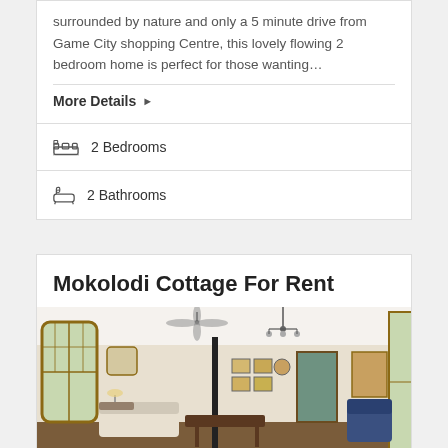surrounded by nature and only a 5 minute drive from Game City shopping Centre, this lovely flowing 2 bedroom home is perfect for those wanting…
More Details ▶
2 Bedrooms
2 Bathrooms
Mokolodi Cottage For Rent
[Figure (photo): Interior photo of a cottage living room with ceiling fans, chandelier, wooden furniture, artwork on walls, and blue chairs.]